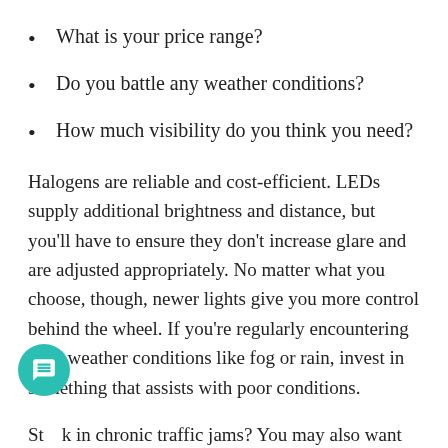What is your price range?
Do you battle any weather conditions?
How much visibility do you think you need?
Halogens are reliable and cost-efficient. LEDs supply additional brightness and distance, but you'll have to ensure they don't increase glare and are adjusted appropriately. No matter what you choose, though, newer lights give you more control behind the wheel. If you're regularly encountering poor weather conditions like fog or rain, invest in something that assists with poor conditions.
Stuck in chronic traffic jams? You may also want to a bumper troubles, allowing those behind you to see your brake lights better or your distance